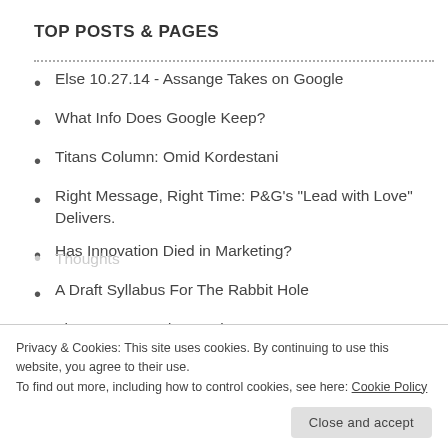TOP POSTS & PAGES
Else 10.27.14 - Assange Takes on Google
What Info Does Google Keep?
Titans Column: Omid Kordestani
Right Message, Right Time: P&G's "Lead with Love" Delivers.
Has Innovation Died in Marketing?
A Draft Syllabus For The Rabbit Hole
The InterDependent Web
Privacy & Cookies: This site uses cookies. By continuing to use this website, you agree to their use.
To find out more, including how to control cookies, see here: Cookie Policy
Close and accept